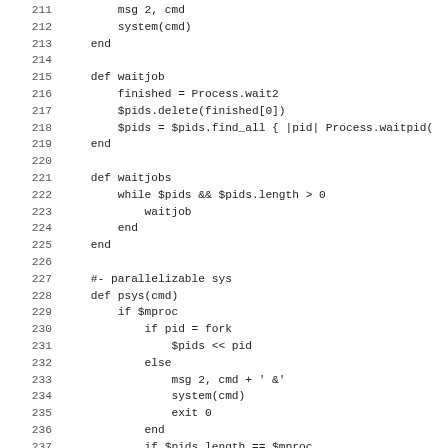[Figure (screenshot): Ruby source code lines 212-243 showing waitjob, waitjobs, and psys method definitions with line numbers on the left]